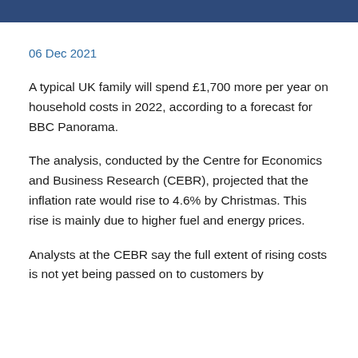06 Dec 2021
A typical UK family will spend £1,700 more per year on household costs in 2022, according to a forecast for BBC Panorama.
The analysis, conducted by the Centre for Economics and Business Research (CEBR), projected that the inflation rate would rise to 4.6% by Christmas. This rise is mainly due to higher fuel and energy prices.
Analysts at the CEBR say the full extent of rising costs is not yet being passed on to customers by